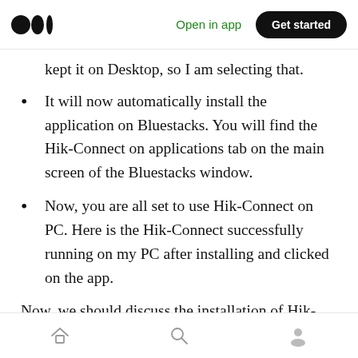Open in app  Get started
kept it on Desktop, so I am selecting that.
It will now automatically install the application on Bluestacks. You will find the Hik-Connect on applications tab on the main screen of the Bluestacks window.
Now, you are all set to use Hik-Connect on PC. Here is the Hik-Connect successfully running on my PC after installing and clicked on the app.
Now, we should discuss the installation of Hik-
Home  Search  Profile